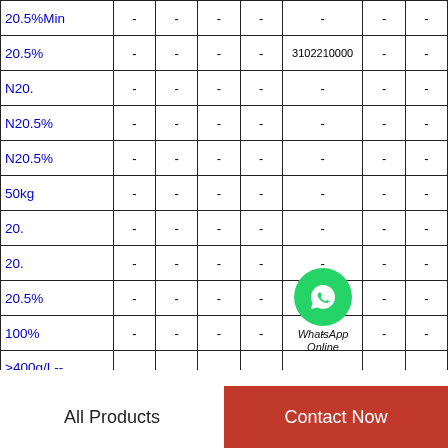|  |  |  |  |  |  |  |  |
| --- | --- | --- | --- | --- | --- | --- | --- |
| 20.5%Min | - | - | - | - | - | - | - |
| 20.5% | - | - | - | - | 3102210000 | - | - |
| N20. | - | - | - | - | - | - | - |
| N20.5% | - | - | - | - | - | - | - |
| N20.5% | - | - | - | - | - | - | - |
| 50kg | - | - | - | - | - | - | - |
| 20. | - | - | - | - | - | - | - |
| 20. | - | - | - | - | - | - | - |
| 20.5% | - | - | - | - | - | - | - |
| 100% | - | - | - | - | - | - | - |
| >400g/L--Water | - | - | - | - | - | - | - |
| 80% | - | - | - | - | - | - | - |
| 100% | - | - | - | - | - | - | - |
| 100% | - | - | - | - | - | - | - |
WhatsApp Online
All Products    Contact Now